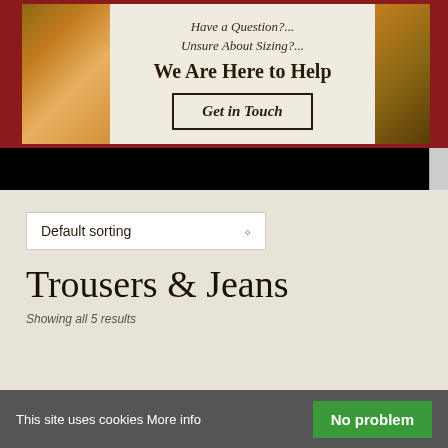[Figure (screenshot): E-commerce banner with leather jacket image on left, text asking 'Have a Question?... Unsure About Sizing?... We Are Here to Help' with a 'Get in Touch' button, on beige background with dark red border]
Have a Question?...
Unsure About Sizing?...
We Are Here to Help
Get in Touch
Default sorting
Trousers & Jeans
Showing all 5 results
SALE!
This site uses cookies More info
No problem